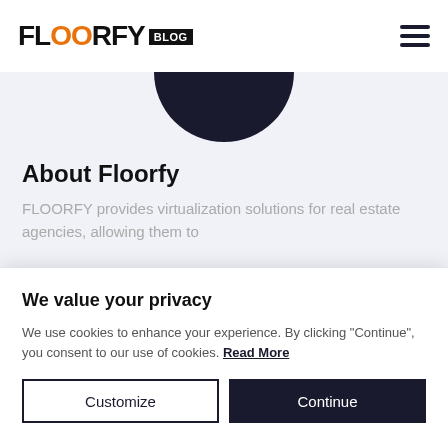FLOORFY BLOG
[Figure (illustration): Floorfy Blog logo with orange OO letters on the left, and a hamburger menu icon on the right]
[Figure (photo): Dark semi-circle profile image at the top of a light gray content area]
About Floorfy
FLOORFY provides virtualization solutions for real estate agencies, allowing them to
We value your privacy
We use cookies to enhance your experience. By clicking "Continue", you consent to our use of cookies. Read More
Customize
Continue